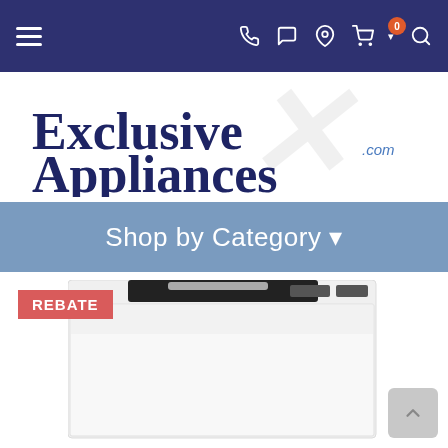Navigation bar with hamburger menu, phone, text, location, cart (0), and search icons
[Figure (logo): Exclusive Appliances logo — 'Exclusive Appliances' in large dark navy serif/sans font, with 'THE APPLIANCE WAREHOUSE' subtitle, and '.com' in blue, with a stylized X watermark in the background]
Shop by Category ▾
[Figure (photo): White dishwasher appliance product photo with REBATE badge overlay in the upper left corner]